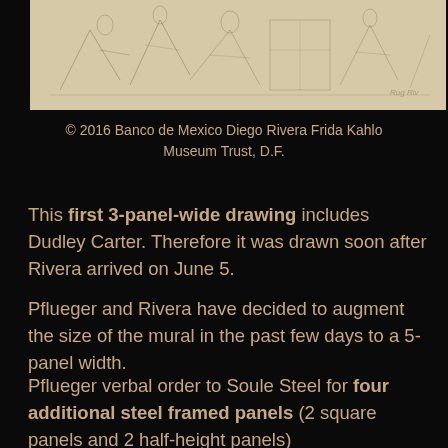[Figure (illustration): Pencil sketch drawing spanning the top of the page, showing rough figures and architectural elements in a light tan/sepia tone]
© 2016 Banco de Mexico Diego Rivera Frida Kahlo Museum Trust, D.F.
This first 3-panel-wide drawing includes Dudley Carter. Therefore it was drawn soon after Rivera arrived on June 5.
Pflueger and Rivera have decided to augment the size of the mural in the past few days to a 5-panel width.
Pflueger verbal order to Soule Steel for four additional steel framed panels (2 square panels and 2 half-height panels)